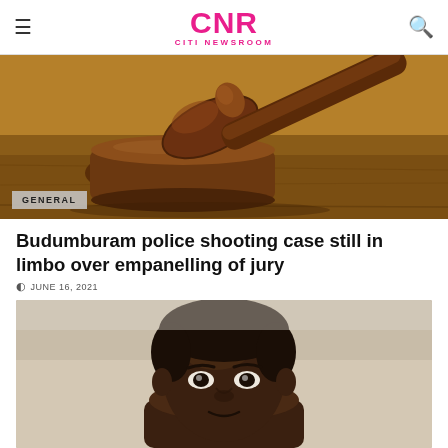CNR CITI NEWSROOM
[Figure (photo): A wooden judge's gavel resting on its sound block on a wooden table, with label GENERAL]
Budumburam police shooting case still in limbo over empanelling of jury
JUNE 16, 2021
[Figure (photo): Close-up portrait photo of a young Black man looking directly at the camera]